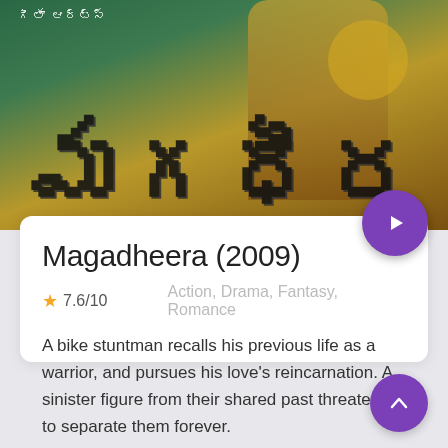[Figure (photo): Movie banner/poster for Magadheera (2009) showing a warrior figure in golden armor with Telugu script title text in large black letters on a green and gold background. Small Telugu text in top left corner.]
Magadheera (2009)
★ 7.6/10    Action, Drama, Fantasy, Romance
A bike stuntman recalls his previous life as a warrior, and pursues his love's reincarnation. A sinister figure from their shared past threatens to separate them forever.
STREAM FULL MOVIE